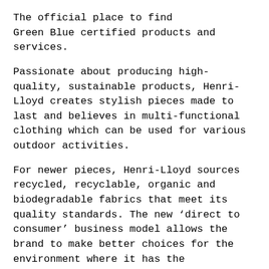The official place to find Green Blue certified products and services.
Passionate about producing high-quality, sustainable products, Henri-Lloyd creates stylish pieces made to last and believes in multi-functional clothing which can be used for various outdoor activities.
For newer pieces, Henri-Lloyd sources recycled, recyclable, organic and biodegradable fabrics that meet its quality standards. The new ‘direct to consumer’ business model allows the brand to make better choices for the environment where it has the flexibility to select fabrics and factories that allows the business to deliver on its sustainability goals.
Production aims
A major step in Henri-Lloyd's drive for sustainability has been to produce the majority of its products in Europe